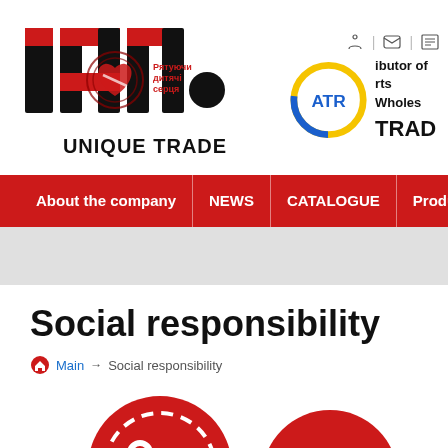[Figure (logo): Unique Trade company logo with stylized letters and heart/gear emblem, Ukrainian text 'Рятуючи дитячі серця' in red, bold 'UNIQUE TRADE' text below]
[Figure (logo): ATR logo — circular badge with blue and yellow ring and 'ATR' in bold, with text 'ibutor of' and 'rts Wholes' and 'TRAD' partially visible]
About the company | NEWS | CATALOGUE | Products
Social responsibility
Main → Social responsibility
[Figure (illustration): Partial view of red circular icons featuring a gear and heart/wrench motif at the bottom of the page]